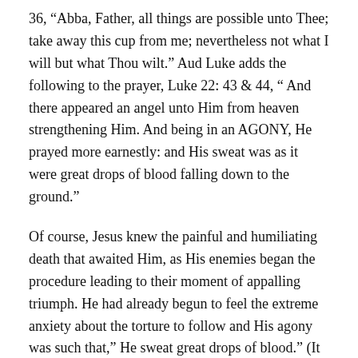36, “Abba, Father, all things are possible unto Thee; take away this cup from me; nevertheless not what I will but what Thou wilt.” Aud Luke adds the following to the prayer, Luke 22: 43 & 44, “ And there appeared an angel unto Him from heaven strengthening Him. And being in an AGONY, He prayed more earnestly: and His sweat was as it were great drops of blood falling down to the ground.”
Of course, Jesus knew the painful and humiliating death that awaited Him, as His enemies began the procedure leading to their moment of appalling triumph. He had already begun to feel the extreme anxiety about the torture to follow and His agony was such that,” He sweat great drops of blood.” (It is interesting that on one recent Easter, one of our